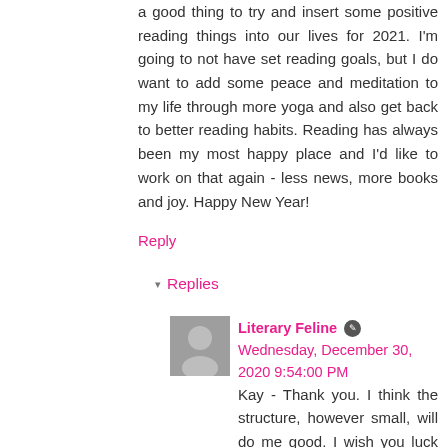a good thing to try and insert some positive reading things into our lives for 2021. I'm going to not have set reading goals, but I do want to add some peace and meditation to my life through more yoga and also get back to better reading habits. Reading has always been my most happy place and I'd like to work on that again - less news, more books and joy. Happy New Year!
Reply
▾ Replies
Literary Feline 🖊 Wednesday, December 30, 2020 9:54:00 PM
Kay - Thank you. I think the structure, however small, will do me good. I wish you luck with your own goals. Thank you for visiting!
Reply
[Figure (photo): Avatar photo of Literary Feline commenter]
Helen's Book Blog Wednesday, December 30, 2020
[Figure (photo): Avatar photo of Helen's Book Blog commenter]